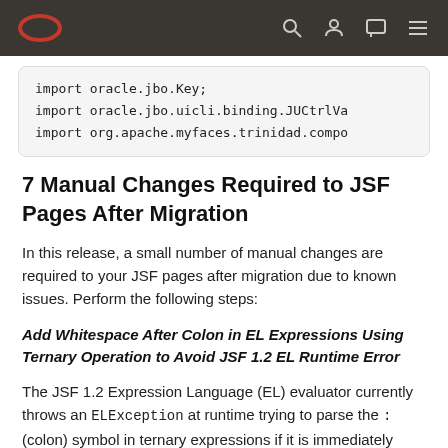Oracle logo and navigation icons
import oracle.jbo.Key;
import oracle.jbo.uicli.binding.JUCtrlVa
import org.apache.myfaces.trinidad.compo
7 Manual Changes Required to JSF Pages After Migration
In this release, a small number of manual changes are required to your JSF pages after migration due to known issues. Perform the following steps:
Add Whitespace After Colon in EL Expressions Using Ternary Operation to Avoid JSF 1.2 EL Runtime Error
The JSF 1.2 Expression Language (EL) evaluator currently throws an ELException at runtime trying to parse the : (colon) symbol in ternary expressions if it is immediately followed by an alphabetic character. The easiest way to workaround this issue is to search for such occurrences in your pages and add whitespace around the : in